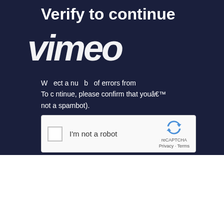[Figure (screenshot): Vimeo 'Verify to continue' page showing a reCAPTCHA widget on a dark navy background. The Vimeo logo appears as large italic white text. Text reads: 'Verify to continue', 'We detected a number of errors from your ip. To continue, please confirm that youâ€™re a human (and not a spambot).' A reCAPTCHA checkbox widget with 'I'm not a robot' label is shown.]
Pastor Matt McFarland
Judges 6:11 – 12 (NASB)